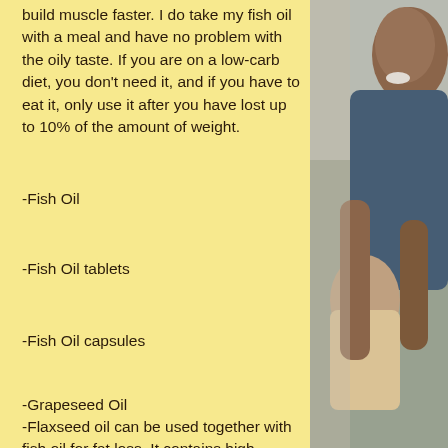build muscle faster. I do take my fish oil with a meal and have no problem with the oily taste. If you are on a low-carb diet, you don't need it, and if you have to eat it, only use it after you have lost up to 10% of the amount of weight.
-Fish Oil
-Fish Oil tablets
-Fish Oil capsules
-Grapeseed Oil
-Flaxseed oil can be used together with fish oil for fat loss. It contains high amounts of
[Figure (photo): A laughing man hugging a child, photographed from the side, with warm tones]